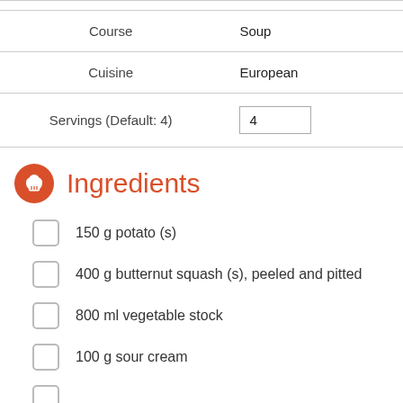|  |  |
| --- | --- |
| Course | Soup |
| Cuisine | European |
| Servings (Default: 4) | 4 |
Ingredients
150 g potato (s)
400 g butternut squash (s), peeled and pitted
800 ml vegetable stock
100 g sour cream